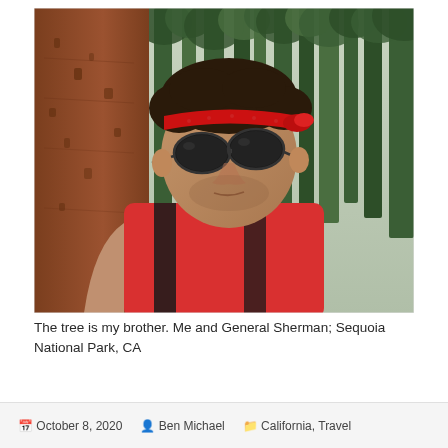[Figure (photo): Selfie of a man wearing a red bandana headband, dark sunglasses, a red tank top with black trim, and a necklace. He is standing next to a massive redwood tree (General Sherman) in a forest. The background shows tall pine trees.]
The tree is my brother. Me and General Sherman; Sequoia National Park, CA
October 8, 2020   Ben Michael   California, Travel